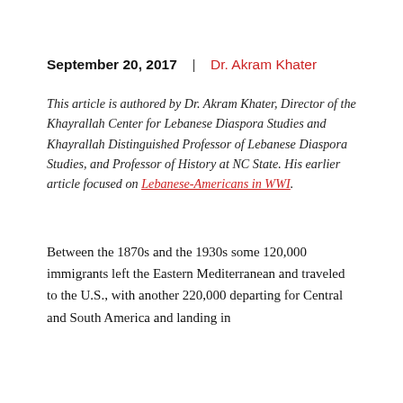September 20, 2017  |  Dr. Akram Khater
This article is authored by Dr. Akram Khater, Director of the Khayrallah Center for Lebanese Diaspora Studies and Khayrallah Distinguished Professor of Lebanese Diaspora Studies, and Professor of History at NC State. His earlier article focused on Lebanese-Americans in WWI.
Between the 1870s and the 1930s some 120,000 immigrants left the Eastern Mediterranean and traveled to the U.S., with another 220,000 departing for Central and South America and landing in [continues]